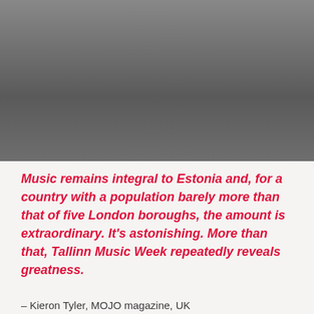[Figure (photo): Gray gradient background image area, darker in the center and lighter toward the edges, occupying the top portion of the page.]
Music remains integral to Estonia and, for a country with a population barely more than that of five London boroughs, the amount is extraordinary. It's astonishing. More than that, Tallinn Music Week repeatedly reveals greatness.
— Kieron Tyler, MOJO magazine, UK